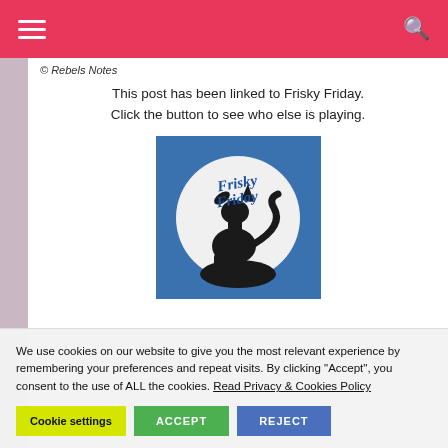© Rebels Notes
This post has been linked to Frisky Friday. Click the button to see who else is playing.
[Figure (illustration): Frisky Friday badge: blue square background with a white circular moon and a black wolf silhouette howling, with 'Frisky Friday' text in blue script]
We use cookies on our website to give you the most relevant experience by remembering your preferences and repeat visits. By clicking "Accept", you consent to the use of ALL the cookies. Read Privacy & Cookies Policy
Cookie settings | ACCEPT | REJECT